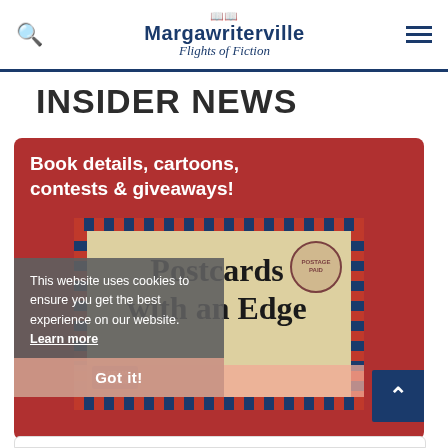Margawriterville Flights of Fiction
INSIDER NEWS
[Figure (illustration): Red promotional card with text 'Book details, cartoons, contests & giveaways!' above a postcard image reading 'Postcards with an Edge'. A cookie consent overlay reads 'This website uses cookies to ensure you get the best experience on our website. Learn more' with a 'Got it!' button.]